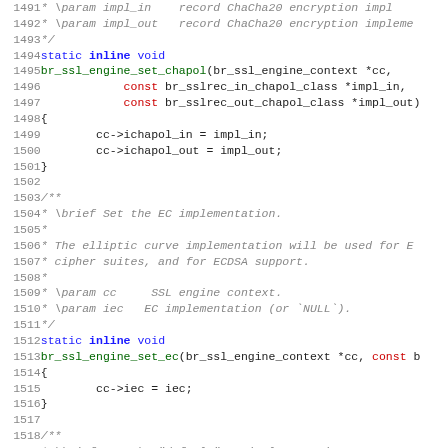[Figure (screenshot): Source code listing with line numbers 1491-1523, showing C code for SSL engine functions br_ssl_engine_set_chapol and br_ssl_engine_set_ec, with syntax highlighting: blue for keywords (static, const, void), bold for 'inline', red for type names, grey italic for comments.]